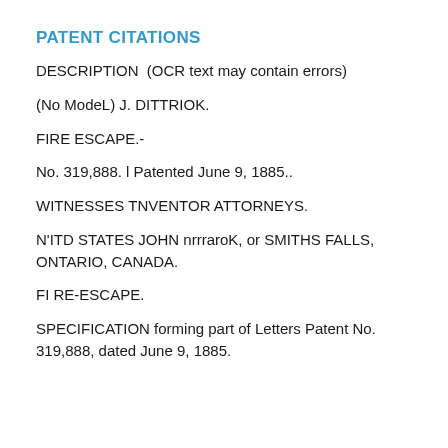PATENT CITATIONS
DESCRIPTION  (OCR text may contain errors)
(No ModeL) J. DITTRIOK.
FIRE ESCAPE.-
No. 319,888. l Patented June 9, 1885..
WITNESSES TNVENTOR ATTORNEYS.
N'ITD STATES JOHN nrrraroK, or SMITHS FALLS, ONTARIO, CANADA.
FI RE-ESCAPE.
SPECIFICATION forming part of Letters Patent No. 319,888, dated June 9, 1885.